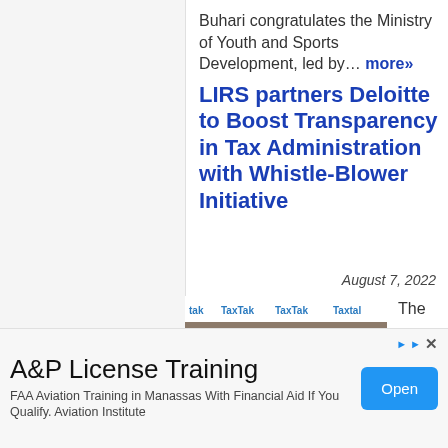Buhari congratulates the Ministry of Youth and Sports Development, led by… more»
LIRS partners Deloitte to Boost Transparency in Tax Administration with Whistle-Blower Initiative
August 7, 2022
[Figure (photo): Group photo of five people standing in front of a TaxTak branded backdrop. A woman in red dress stands in the center, flanked by men in formal attire.]
The
A&P License Training
FAA Aviation Training in Manassas With Financial Aid If You Qualify. Aviation Institute
Open